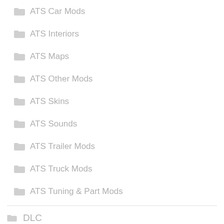ATS Car Mods
ATS Interiors
ATS Maps
ATS Other Mods
ATS Skins
ATS Sounds
ATS Trailer Mods
ATS Truck Mods
ATS Tuning & Part Mods
DLC